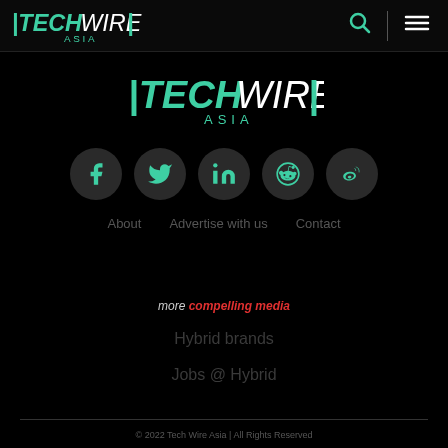TechWire Asia — navigation bar with logo, search, and menu
[Figure (logo): TechWire Asia logo in teal/green color, centered]
[Figure (infographic): Row of 5 social media icons (Facebook, Twitter, LinkedIn, Reddit, Weibo) in dark circles with teal icons]
About   Advertise with us   Contact
more compelling media
Hybrid brands
Jobs @ Hybrid
© 2022 Tech Wire Asia | All Rights Reserved